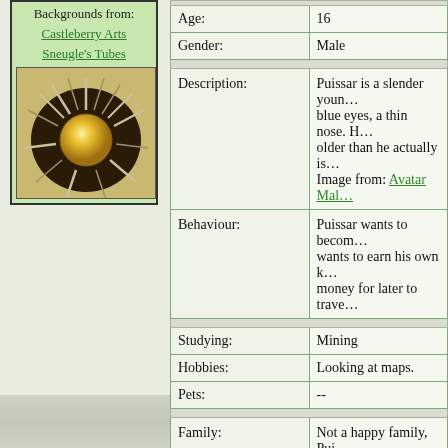Backgrounds from: Castleberry Arts Sneugle's Tubes
[Figure (illustration): Sun/star burst illustration with a golden orb center and silver/brown radiating spikes on a dark background]
| Field | Value |
| --- | --- |
| Age: | 16 |
| Gender: | Male |
| Description: | Puissar is a slender young... blue eyes, a thin nose. H... older than he actually is... Image from: Avatar Mal... |
| Behaviour: | Puissar wants to become... wants to earn his own k... money for later to trave... |
| Studying: | Mining |
| Hobbies: | Looking at maps. |
| Pets: | -- |
| Family: | Not a happy family, Pui... an autocratic father and... with food and shelter bu... |
| Home: | Garnett Hold. |
|  | S... |